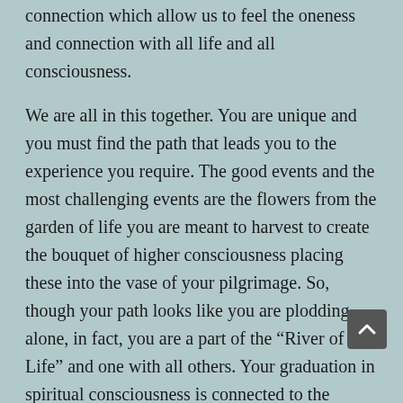connection which allow us to feel the oneness and connection with all life and all consciousness.
We are all in this together. You are unique and you must find the path that leads you to the experience you require. The good events and the most challenging events are the flowers from the garden of life you are meant to harvest to create the bouquet of higher consciousness placing these into the vase of your pilgrimage. So, though your path looks like you are plodding alone, in fact, you are a part of the “River of Life” and one with all others. Your graduation in spiritual consciousness is connected to the spiritual success of all. Reach around and take the hands of all the fellow pilgrims you meet along your way. We must all cross the finish line together.
Your struggle is the “point.” Learn to love the struggle. the delight of the insights these struggles provide. Accept and